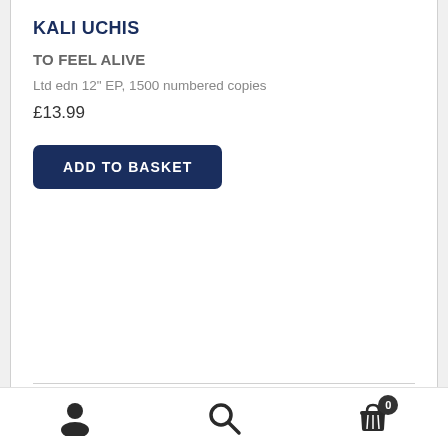KALI UCHIS
TO FEEL ALIVE
Ltd edn 12" EP, 1500 numbered copies
£13.99
ADD TO BASKET
User icon | Search icon | Basket icon with 0